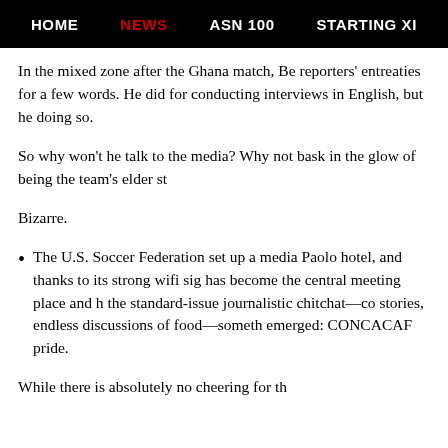HOME | NEWS | ASN 100 | STARTING XI
In the mixed zone after the Ghana match, Be reporters' entreaties for a few words. He did for conducting interviews in English, but he doing so.
So why won't he talk to the media? Why not bask in the glow of being the team's elder st
Bizarre.
The U.S. Soccer Federation set up a media Paolo hotel, and thanks to its strong wifi sig has become the central meeting place and h the standard-issue journalistic chitchat—co stories, endless discussions of food—someth emerged: CONCACAF pride.
While there is absolutely no cheering for th